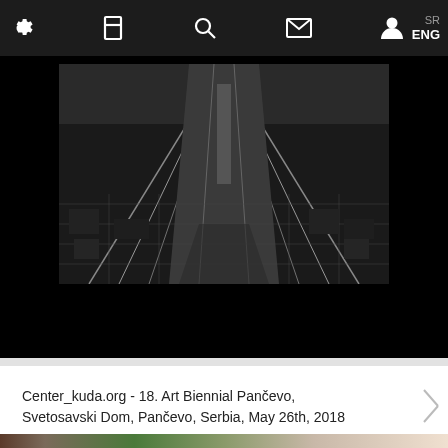SR ENG
[Figure (screenshot): Website navigation bar with settings gear icon, bookmark icon, search icon, mail/envelope icon, user/profile icon, and language switcher showing SR and ENG]
[Figure (photo): Black and white aerial/overhead photograph of a bridge with roads and city grid below, symmetrical composition]
Center_kuda.org - 18. Art Biennial Pančevo, Svetosavski Dom, Pančevo, Serbia, May 26th, 2018
[Figure (photo): Color photograph showing people outdoors, partially visible at bottom of page, with a tent/canopy and trees in the background]